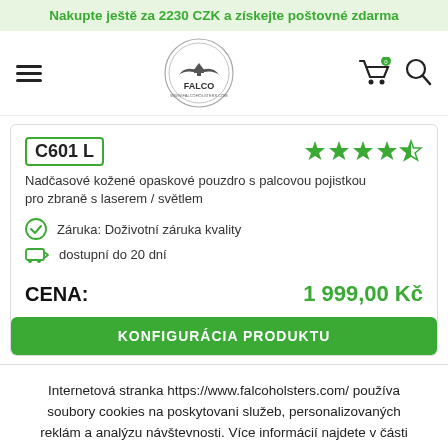Nakupte ještě za 2230 CZK a získejte poštovné zdarma
[Figure (logo): Falco Holsters circular logo with eagle/bird design]
C601 L
Nadčasové kožené opaskové pouzdro s palcovou pojistkou pro zbraně s laserem / světlem
Záruka: Doživotní záruka kvality
dostupní do 20 dní
CENA: 1 999,00 Kč
KONFIGURÁCIA PRODUKTU
Internetová stranka https://www.falcoholsters.com/ používa soubory cookies na poskytovani služeb, personalizovaných reklám a analýzu návštevnosti. Více informácií najdete v části Informace o používaní cookies.
SOUHLASÍM